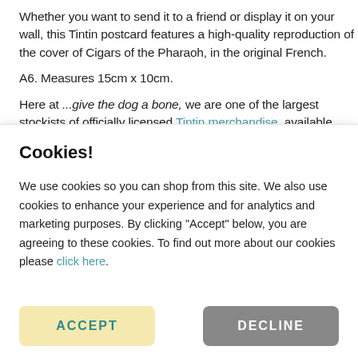Whether you want to send it to a friend or display it on your wall, this Tintin postcard features a high-quality reproduction of the cover of Cigars of the Pharaoh, in the original French.
A6. Measures 15cm x 10cm.
Here at ...give the dog a bone, we are one of the largest stockists of officially licensed Tintin merchandise, available online, or in our
Cookies!
We use cookies so you can shop from this site. We also use cookies to enhance your experience and for analytics and marketing purposes. By clicking "Accept" below, you are agreeing to these cookies. To find out more about our cookies please click here.
ACCEPT
DECLINE